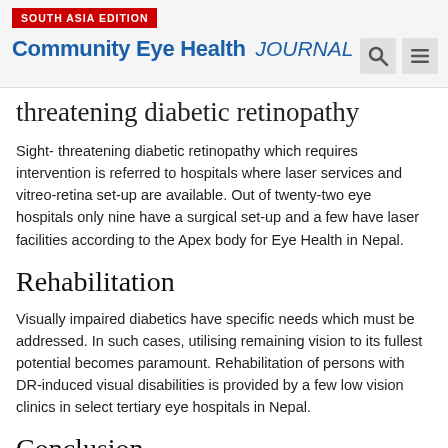SOUTH ASIA EDITION | Community Eye Health JOURNAL
threatening diabetic retinopathy
Sight- threatening diabetic retinopathy which requires intervention is referred to hospitals where laser services and vitreo-retina set-up are available. Out of twenty-two eye hospitals only nine have a surgical set-up and a few have laser facilities according to the Apex body for Eye Health in Nepal.
Rehabilitation
Visually impaired diabetics have specific needs which must be addressed. In such cases, utilising remaining vision to its fullest potential becomes paramount. Rehabilitation of persons with DR-induced visual disabilities is provided by a few low vision clinics in select tertiary eye hospitals in Nepal.
Conclusion
Diabetes is a growing problem in Nepal, but awareness of